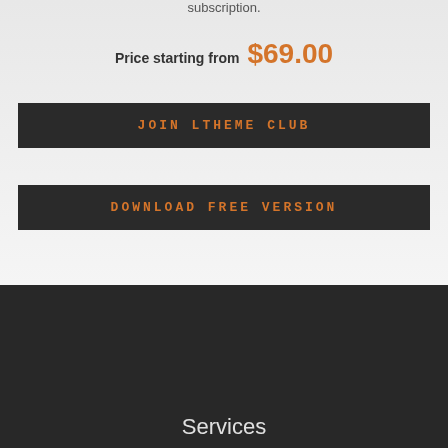subscription.
Price starting from $69.00
JOIN LTHEME CLUB
DOWNLOAD FREE VERSION
Services